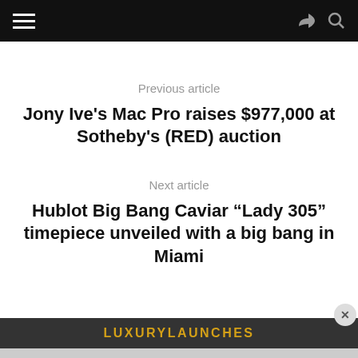≡  ↷ 🔍
Previous article
Jony Ive's Mac Pro raises $977,000 at Sotheby's (RED) auction
Next article
Hublot Big Bang Caviar “Lady 305” timepiece unveiled with a big bang in Miami
LUXURYLAUNCHES